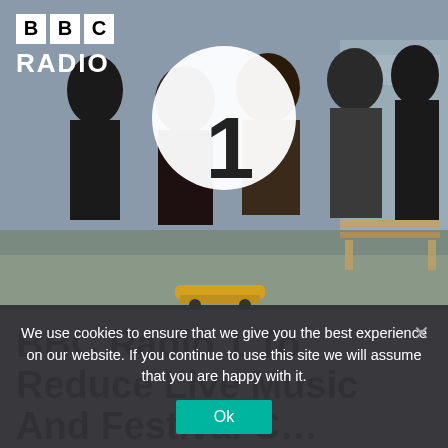[Figure (photo): Group of young people at a skate park holding a large BBC Radio 1 logo disc. BBC Radio 1 text logo visible in top left corner in white.]
BBC Radio 1 To Reduce Live Music And Festival Content To Save Money
We use cookies to ensure that we give you the best experience on our website. If you continue to use this site we will assume that you are happy with it.